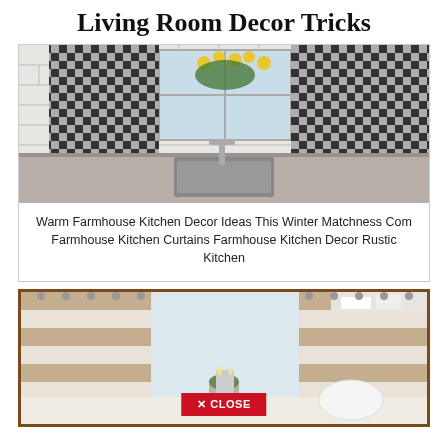Living Room Decor Tricks
[Figure (photo): Farmhouse kitchen with black and white gingham curtains, granite countertop, stainless steel sink, subway tile backsplash, and yellow flowers by the window]
Warm Farmhouse Kitchen Decor Ideas This Winter Matchness Com Farmhouse Kitchen Curtains Farmhouse Kitchen Decor Rustic Kitchen
[Figure (photo): Bright kitchen with tan and white horizontal striped curtains, window with natural light, small potted plant, white bowl, and candlestick holder on counter. Brown bordered frame. Close button overlay at bottom.]